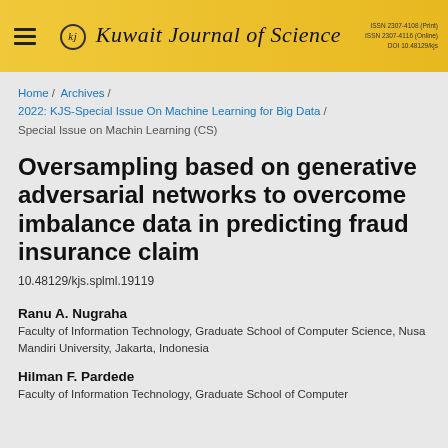Kuwait Journal of Science | ISSN 2307-4108 (Print) ISSN 2307-4116 (Online) DOI 10.48129/kjs
Home / Archives / 2022: KJS-Special Issue On Machine Learning for Big Data / Special Issue on Machin Learning (CS)
Oversampling based on generative adversarial networks to overcome imbalance data in predicting fraud insurance claim
10.48129/kjs.splml.19119
Ranu A. Nugraha
Faculty of Information Technology, Graduate School of Computer Science, Nusa Mandiri University, Jakarta, Indonesia
Hilman F. Pardede
Faculty of Information Technology, Graduate School of Computer Science...